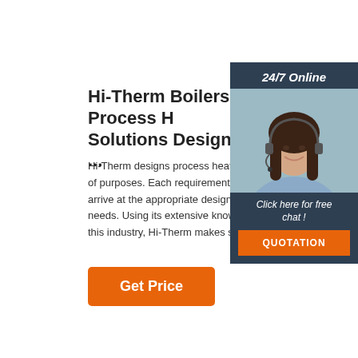Hi-Therm Boilers - Process H... Solutions Designer And ...
Hi-Therm designs process heating solutions fo... of purposes. Each requirement is carefully stu... arrive at the appropriate design suitable for yo... needs. Using its extensive knowledge and exp... this industry, Hi-Therm makes sure that ...
[Figure (photo): 24/7 online customer support chat widget showing a smiling female agent wearing a headset, with dark background, 'Click here for free chat!' text and orange QUOTATION button]
Get Price